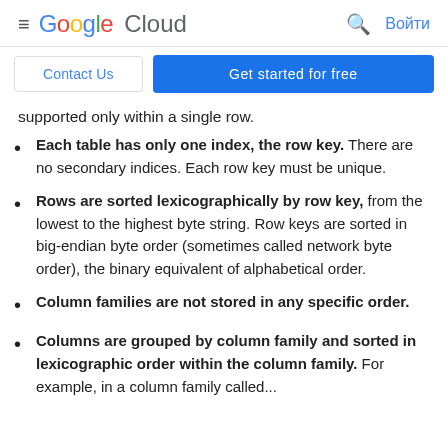Google Cloud — Войти
Contact Us | Get started for free
supported only within a single row.
Each table has only one index, the row key. There are no secondary indices. Each row key must be unique.
Rows are sorted lexicographically by row key, from the lowest to the highest byte string. Row keys are sorted in big-endian byte order (sometimes called network byte order), the binary equivalent of alphabetical order.
Column families are not stored in any specific order.
Columns are grouped by column family and sorted in lexicographic order within the column family. For example, in a column family called...